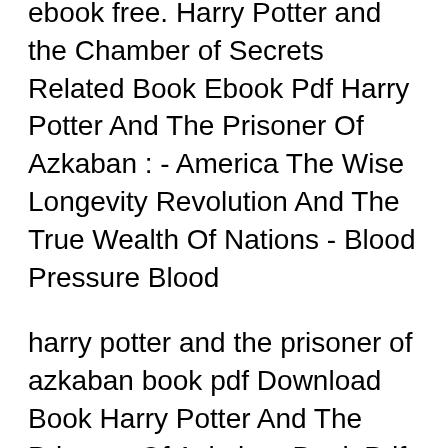ebook free. Harry Potter and the Chamber of Secrets Related Book Ebook Pdf Harry Potter And The Prisoner Of Azkaban : - America The Wise Longevity Revolution And The True Wealth Of Nations - Blood Pressure Blood
harry potter and the prisoner of azkaban book pdf Download Book Harry Potter And The Prisoner Of Azkaban Book Pdf in PDF format. Format : PDF, ePub, Mobi Harry Potter and the Prisoner of Azkaban ebook epub/mobi/pdf/prc/azw3
DOWNLOAD HARRY-POTTER-AND-THEPRISONER-OF-AZKABAN Ebook Read online Gutenberg Epub Mobi html K...